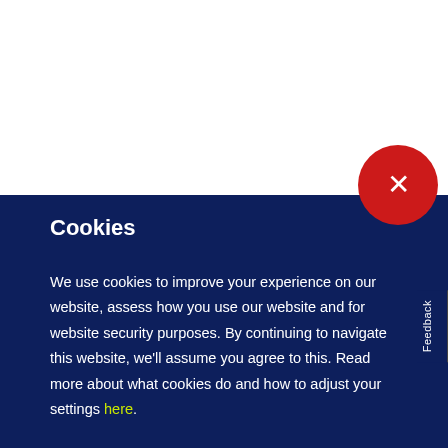9 May 2022
PPL, PRS for Music and PRS Foundation bring OnTrack to The Great Escape
Cookies
We use cookies to improve your experience on our website, assess how you use our website and for website security purposes. By continuing to navigate this website, we'll assume you agree to this. Read more about what cookies do and how to adjust your settings here.